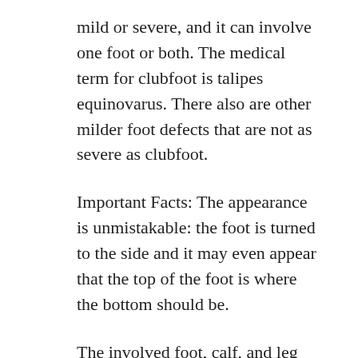mild or severe, and it can involve one foot or both. The medical term for clubfoot is talipes equinovarus. There also are other milder foot defects that are not as severe as clubfoot.
Important Facts: The appearance is unmistakable: the foot is turned to the side and it may even appear that the top of the foot is where the bottom should be.
The involved foot, calf, and leg are smaller and shorter than the normal side.
It is not a painful condition. But if it is not treated, clubfoot will lead to significant discomfort and disability by the teenage years...